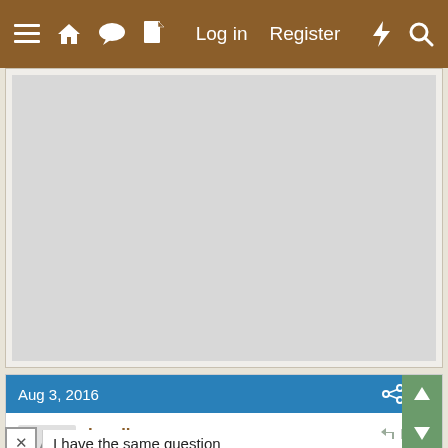≡  🏠  💬  📄    Log in   Register   ⚡  🔍
[Figure (other): Advertisement placeholder area, light gray rectangle]
Aug 3, 2016
#2
burdboy
Chirping
I have the same question
Reply